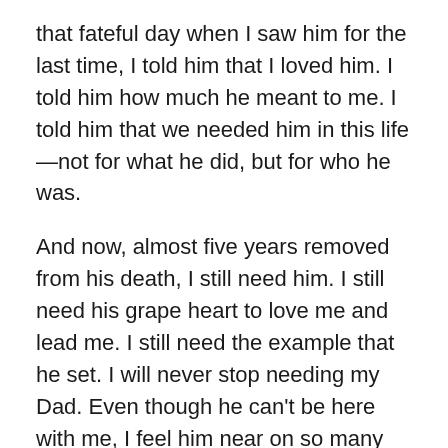that fateful day when I saw him for the last time, I told him that I loved him. I told him how much he meant to me. I told him that we needed him in this life—not for what he did, but for who he was.
And now, almost five years removed from his death, I still need him. I still need his grape heart to love me and lead me. I still need the example that he set. I will never stop needing my Dad. Even though he can't be here with me, I feel him near on so many days. Nearly every day in a different way, I'm reminded that his grape heart beats on.
Every now and then, usually right when I need it most, I hear a new story about my Dad that I